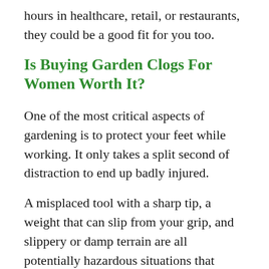hours in healthcare, retail, or restaurants, they could be a good fit for you too.
Is Buying Garden Clogs For Women Worth It?
One of the most critical aspects of gardening is to protect your feet while working. It only takes a split second of distraction to end up badly injured.
A misplaced tool with a sharp tip, a weight that can slip from your grip, and slippery or damp terrain are all potentially hazardous situations that endanger your stability and safety.
Why not garden in comfort and treat your feet with a pair of gardening clogs that are nearly